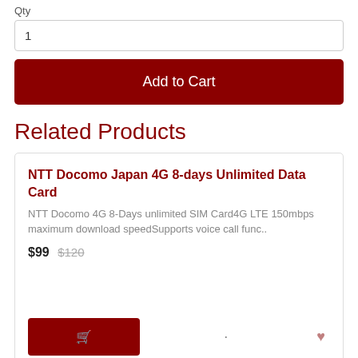Qty
1
Add to Cart
Related Products
NTT Docomo Japan 4G 8-days Unlimited Data Card
NTT Docomo 4G 8-Days unlimited SIM Card4G LTE 150mbps maximum download speedSupports voice call func..
$99  $120